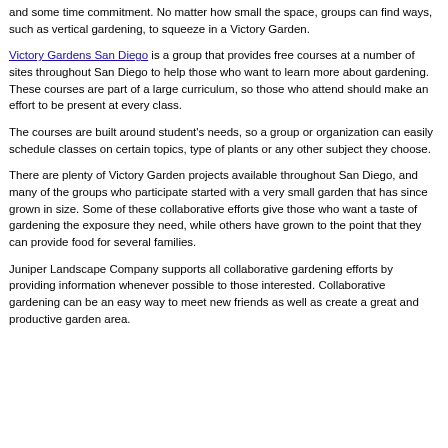and some time commitment. No matter how small the space, groups can find ways, such as vertical gardening, to squeeze in a Victory Garden.
Victory Gardens San Diego is a group that provides free courses at a number of sites throughout San Diego to help those who want to learn more about gardening. These courses are part of a large curriculum, so those who attend should make an effort to be present at every class.
The courses are built around student's needs, so a group or organization can easily schedule classes on certain topics, type of plants or any other subject they choose.
There are plenty of Victory Garden projects available throughout San Diego, and many of the groups who participate started with a very small garden that has since grown in size. Some of these collaborative efforts give those who want a taste of gardening the exposure they need, while others have grown to the point that they can provide food for several families.
Juniper Landscape Company supports all collaborative gardening efforts by providing information whenever possible to those interested. Collaborative gardening can be an easy way to meet new friends as well as create a great and productive garden area.